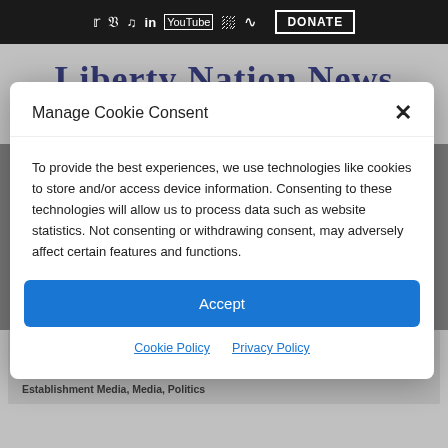Twitter Facebook TikTok LinkedIn YouTube Pinterest RSS  DONATE
Liberty Nation News
Manage Cookie Consent
To provide the best experiences, we use technologies like cookies to store and/or access device information. Consenting to these technologies will allow us to process data such as website statistics. Not consenting or withdrawing consent, may adversely affect certain features and functions.
Accept
Cookie Policy  Privacy Policy
campaign and tacking to the prevailing political winds.
By: Sarah Cowgill |  July 17, 2020 - 7:30 am |  Articles, Election 2020, Establishment Media, Media, Politics